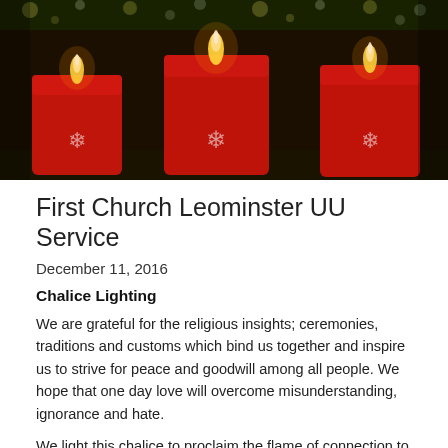[Figure (photo): Three red pillar candles with snowflake decorations lit against a backdrop of holiday lights and greenery]
First Church Leominster UU Service
December 11, 2016
Chalice Lighting
We are grateful for the religious insights; ceremonies, traditions and customs which bind us together and inspire us to strive for peace and goodwill among all people. We hope that one day love will overcome misunderstanding, ignorance and hate.
We light this chalice to proclaim the flame of connection to all creation.
Opening words
If we fill our lives with things and yet more things, if we feel